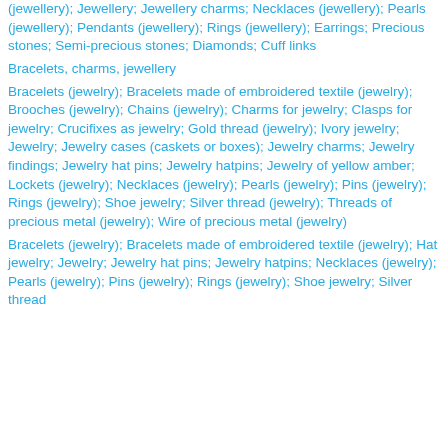(jewellery); Jewellery; Jewellery charms; Necklaces (jewellery); Pearls (jewellery); Pendants (jewellery); Rings (jewellery); Earrings; Precious stones; Semi-precious stones; Diamonds; Cuff links
Bracelets, charms, jewellery
Bracelets (jewelry); Bracelets made of embroidered textile (jewelry); Brooches (jewelry); Chains (jewelry); Charms for jewelry; Clasps for jewelry; Crucifixes as jewelry; Gold thread (jewelry); Ivory jewelry; Jewelry; Jewelry cases (caskets or boxes); Jewelry charms; Jewelry findings; Jewelry hat pins; Jewelry hatpins; Jewelry of yellow amber; Lockets (jewelry); Necklaces (jewelry); Pearls (jewelry); Pins (jewelry); Rings (jewelry); Shoe jewelry; Silver thread (jewelry); Threads of precious metal (jewelry); Wire of precious metal (jewelry)
Bracelets (jewelry); Bracelets made of embroidered textile (jewelry); Hat jewelry; Jewelry; Jewelry hat pins; Jewelry hatpins; Necklaces (jewelry); Pearls (jewelry); Pins (jewelry); Rings (jewelry); Shoe jewelry; Silver thread